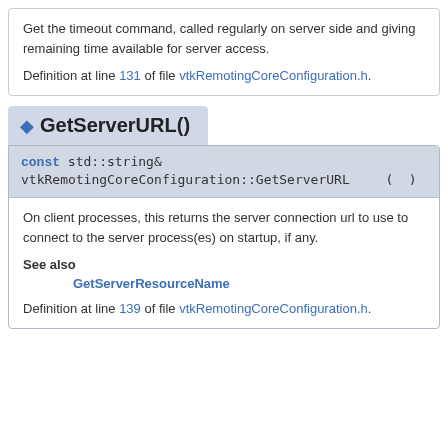Get the timeout command, called regularly on server side and giving remaining time available for server access.
Definition at line 131 of file vtkRemotingCoreConfiguration.h.
GetServerURL()
const std::string& vtkRemotingCoreConfiguration::GetServerURL ( ) const inline
On client processes, this returns the server connection url to use to connect to the server process(es) on startup, if any.
See also
GetServerResourceName
Definition at line 139 of file vtkRemotingCoreConfiguration.h.